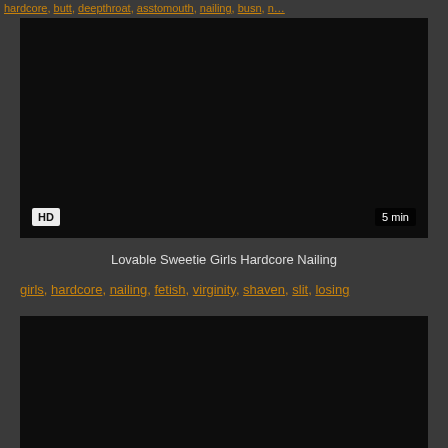hardcore, butt, deepthroat, asstomouth, nailing, busn, n…
[Figure (photo): Dark video thumbnail with HD badge and 5 min duration label]
Lovable Sweetie Girls Hardcore Nailing
girls, hardcore, nailing, fetish, virginity, shaven, slit, losing
[Figure (photo): Dark video thumbnail, second item]